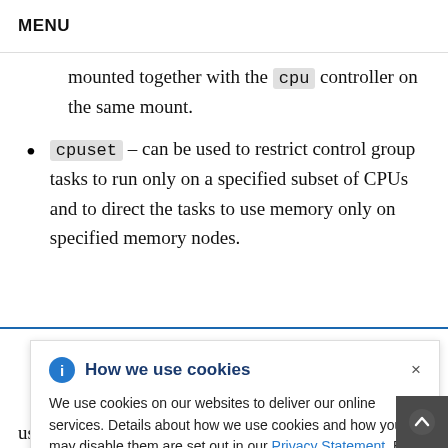MENU
mounted together with the cpu controller on the same mount.
cpuset – can be used to restrict control group tasks to run only on a specified subset of CPUs and to direct the tasks to use memory only on specified memory nodes.
How we use cookies — cookie popup overlay: We use cookies on our websites to deliver our online services. Details about how we use cookies and how you may disable them are set out in our Privacy Statement. By using this website you agree to our use of cookies.
ices for
r resume
n memory
use by tasks in a control group and generates